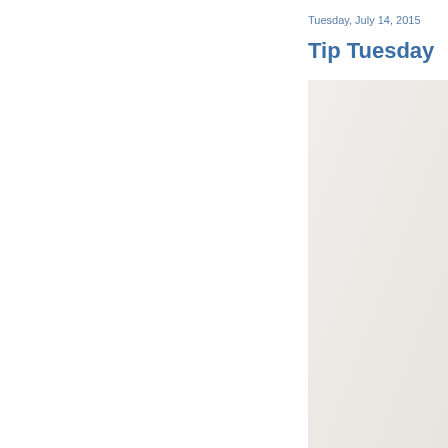Tuesday, July 14, 2015
Tip Tuesday
[Figure (photo): A light beige/off-white panel or image area occupying the right portion of the page below the title]